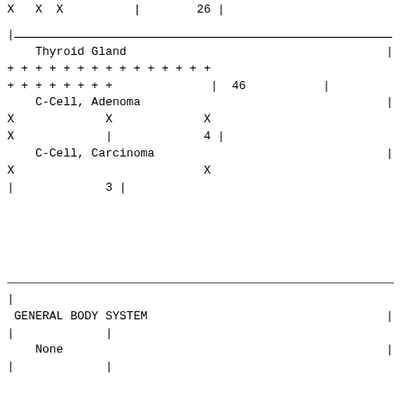X   X  X          |        26 |
| Thyroid Gland | | |
| + + + + + + + + + + + + + + + |  |
| + + + + + + + + | | 46 | |
| C-Cell, Adenoma | | |
| X | X | X |  |
| X | | | 4 | |
| C-Cell, Carcinoma | | |
| X | X |  |
| | | 3 | |
| | |  |
| GENERAL BODY SYSTEM | | |
| | | | |
| None | | |
| | | | |